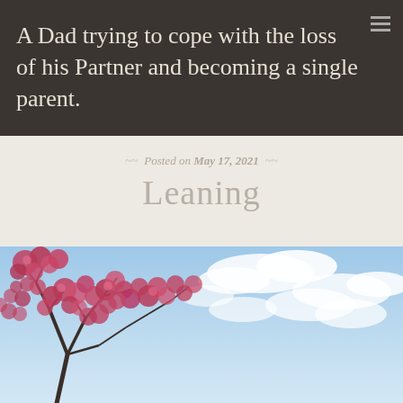A Dad trying to cope with the loss of his Partner and becoming a single parent.
Posted on May 17, 2021
Leaning
[Figure (photo): A flowering tree with pink/red blossoms photographed from below against a blue sky with white clouds]
Follow ...